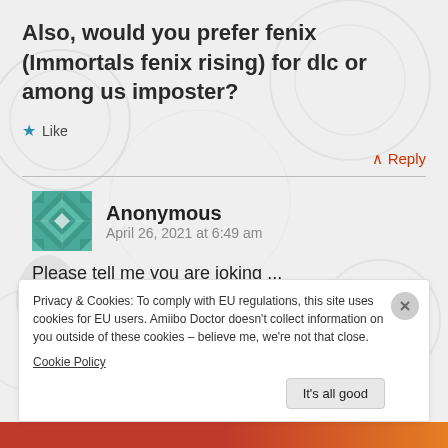Also, would you prefer fenix (Immortals fenix rising) for dlc or among us imposter?
★ Like
↑ Reply
Anonymous
April 26, 2021 at 6:49 am
Please tell me you are joking ...
Privacy & Cookies: To comply with EU regulations, this site uses cookies for EU users. Amiibo Doctor doesn't collect information on you outside of these cookies – believe me, we're not that close.
Cookie Policy
It's all good